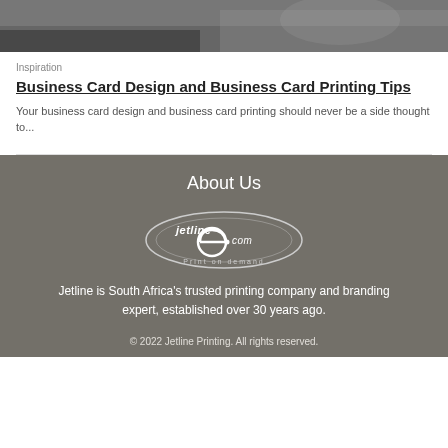[Figure (photo): Top portion of a photo, likely a person or object in black and white or dark tones, cropped at top of page]
Inspiration
Business Card Design and Business Card Printing Tips
Your business card design and business card printing should never be a side thought to...
About Us
[Figure (logo): Jetline e.com Print on demand logo — oval shape with stylized text 'jetline e.com' and tagline 'Print on demand']
Jetline is South Africa's trusted printing company and branding expert, established over 30 years ago.
© 2022 Jetline Printing. All rights reserved.